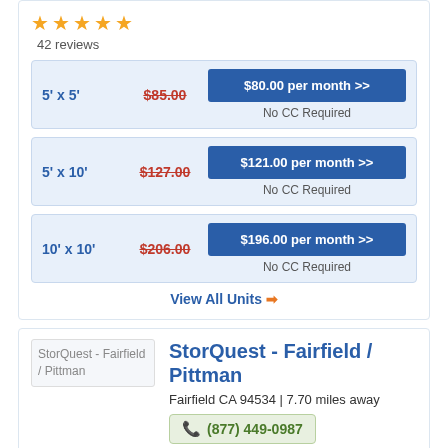[Figure (other): 5 orange star rating icons]
42 reviews
| Size | Original Price | Discounted Price |
| --- | --- | --- |
| 5' x 5' | $85.00 | $80.00 per month >> |
| 5' x 10' | $127.00 | $121.00 per month >> |
| 10' x 10' | $206.00 | $196.00 per month >> |
View All Units ❯
StorQuest - Fairfield / Pittman
Fairfield CA 94534 | 7.70 miles away
(877) 449-0987